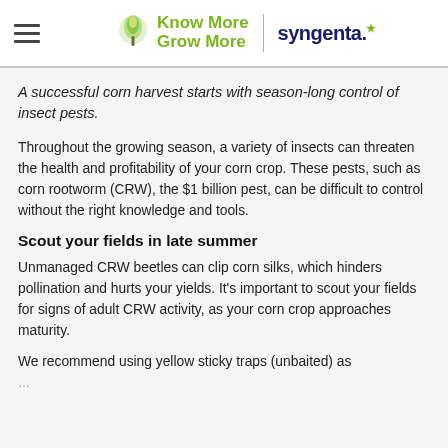Know More Grow More | syngenta
A successful corn harvest starts with season-long control of insect pests.
Throughout the growing season, a variety of insects can threaten the health and profitability of your corn crop. These pests, such as corn rootworm (CRW), the $1 billion pest, can be difficult to control without the right knowledge and tools.
Scout your fields in late summer
Unmanaged CRW beetles can clip corn silks, which hinders pollination and hurts your yields. It’s important to scout your fields for signs of adult CRW activity, as your corn crop approaches maturity.
We recommend using yellow sticky traps (unbaited) as …